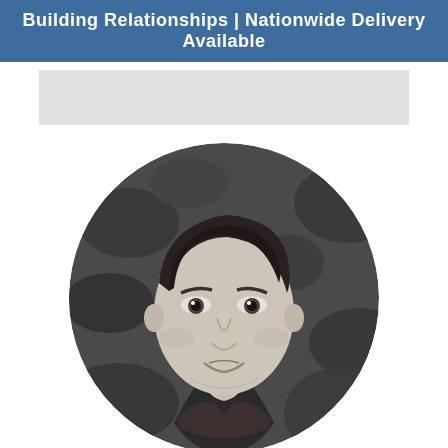Building Relationships | Nationwide Delivery Available
[Figure (photo): Gray placeholder bar below the header]
[Figure (photo): Black and white circular portrait photo of a young man with slicked-back hair wearing a collared shirt, with a blurred leafy background]